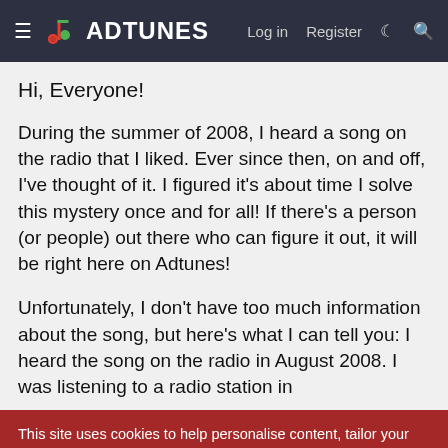ADTUNES — Log in  Register
Hi, Everyone!
During the summer of 2008, I heard a song on the radio that I liked. Ever since then, on and off, I've thought of it. I figured it's about time I solve this mystery once and for all! If there's a person (or people) out there who can figure it out, it will be right here on Adtunes!
Unfortunately, I don't have too much information about the song, but here's what I can tell you: I heard the song on the radio in August 2008. I was listening to a radio station in
This site uses cookies to help personalise content, tailor your experience and to keep you logged in if you register.
By continuing to use this site, you are consenting to our use of cookies.